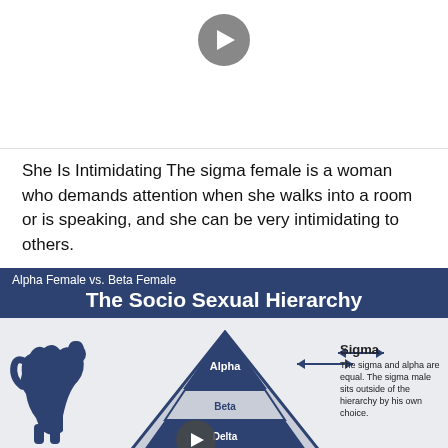[Figure (other): Video placeholder with gray play button circle on white background]
She Is Intimidating The sigma female is a woman who demands attention when she walks into a room or is speaking, and she can be very intimidating to others.
[Figure (infographic): Infographic showing 'The Socio Sexual Hierarchy' pyramid with levels Alpha, Beta, Delta, Gamma, Omega. Includes a dog silhouette on the left, a double-headed arrow pointing to 'Sigma' on the right with text 'The sigma and alpha are equal. The sigma male sits outside of the hierarchy by his own choice.' Header also shows 'Alpha Female vs. Beta Female'. Bottom left shows 'Inspired by: You Trey / mratiabia.com']